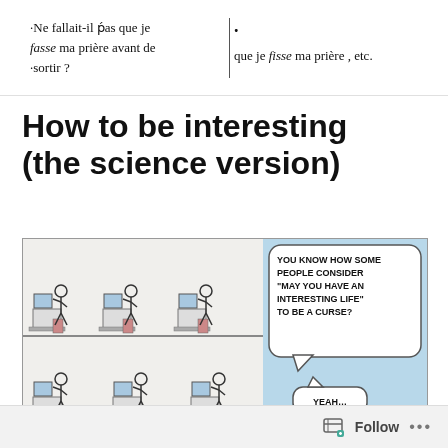[Figure (illustration): Scanned old French text showing two columns separated by a vertical line. Left column: '·Ne fallait-il pas que je fasse ma prière avant de sortir ?' Right column: 'que je fisse ma prière , etc.' with partial text cut off at top right.]
How to be interesting (the science version)
[Figure (illustration): A comic strip showing two panels. Left panel (gray background): stick figures of office workers sitting at computer desks arranged on two floors/levels. Right panel (light blue background): a speech bubble saying 'YOU KNOW HOW SOME PEOPLE CONSIDER "MAY YOU HAVE AN INTERESTING LIFE" TO BE A CURSE?' Below, a smaller speech bubble says 'YEAH...']
Follow ···